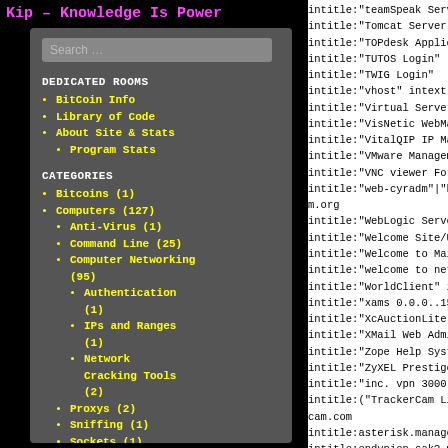Kip – Knowledge Is Power
Search …
DEDICATED ROOMS
BitCoin Info
Library of Code
About Site & Stats
Program Stats
CATEGORIES
Bitcoins (1)
Computers (127)
Anti-Virus (1)
Command Line (25)
Computer Networking (95)
Authentication (1)
IPs and Ranges (1)
Network Cracking Tools (2)
Proxys (2)
Sniffing (1)
Sockets (1)
intitle:"teamSpeak Server-
intitle:"Tomcat Server Adm:
intitle:"TOPdesk Applicati
intitle:"TUTOS Login"
intitle:"TWIG Login"
intitle:"vhost" intext:"vH
intitle:"Virtual Server Ad
intitle:"VisNetic WebMail"
intitle:"VitalQIP IP Manag
intitle:"VMware Management
intitle:"VNC viewer For Ja
intitle:"web-cyradm"|"by L
m.org
intitle:"WebLogic Server"
intitle:"Welcome Site/User
intitle:"Welcome to Mailtr
intitle:"welcome to netwar
intitle:"WorldClient" inte
intitle:"xams 0.0.0..15 -
intitle:"XcAuctionLite" |
intitle:"XMail Web Adminis
intitle:"Zope Help System"
intitle:"ZyXEL Prestige Ro
intitle:"inc. vpn 3000 con
intitle:("TrackerCam Live
cam.com
intitle:asterisk.managemen
intitle:endynion.sak?.mail
intitle:Group-Office "Ente
intitle:ilohamail "
IlohaMail"